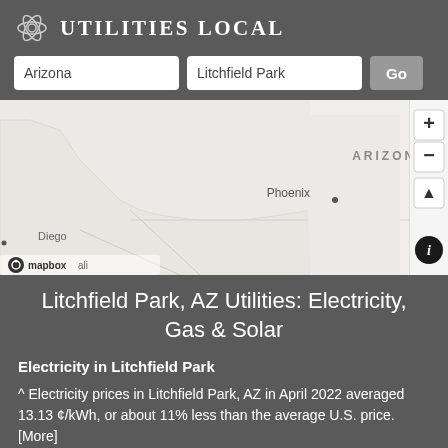Utilities Local
Arizona | Litchfield Park | Go
[Figure (map): Map showing Arizona state with Phoenix labeled, and map controls (zoom in/out, navigation, info button). Mapbox attribution visible at bottom left. State label ARIZONA shown in upper area.]
Litchfield Park, AZ Utilities: Electricity, Gas & Solar
Electricity in Litchfield Park
^ Electricity prices in Litchfield Park, AZ in April 2022 averaged 13.13 ¢/kWh, or about 11% less than the average U.S. price. [More]